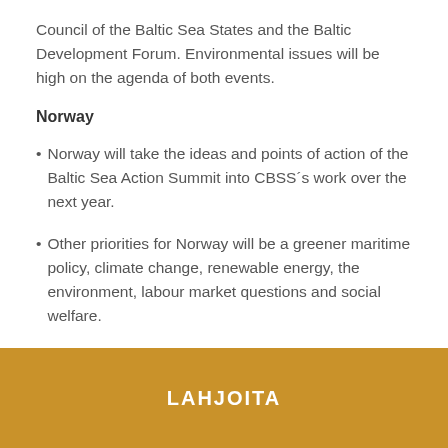Council of the Baltic Sea States and the Baltic Development Forum. Environmental issues will be high on the agenda of both events.
Norway
Norway will take the ideas and points of action of the Baltic Sea Action Summit into CBSS´s work over the next year.
Other priorities for Norway will be a greener maritime policy, climate change, renewable energy, the environment, labour market questions and social welfare.
In the coming year Norway will chair expert groups on sustainable development and on an integrated maritime
LAHJOITA